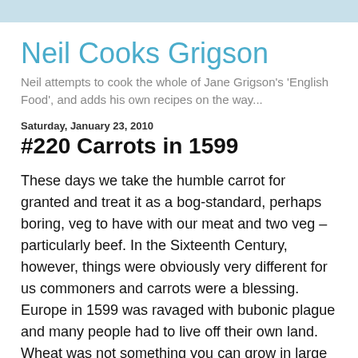Neil Cooks Grigson
Neil attempts to cook the whole of Jane Grigson's 'English Food', and adds his own recipes on the way...
Saturday, January 23, 2010
#220 Carrots in 1599
These days we take the humble carrot for granted and treat it as a bog-standard, perhaps boring, veg to have with our meat and two veg – particularly beef. In the Sixteenth Century, however, things were obviously very different for us commoners and carrots were a blessing. Europe in 1599 was ravaged with bubonic plague and many people had to live off their own land. Wheat was not something you can grow in large enough amounts to sustain one's own family